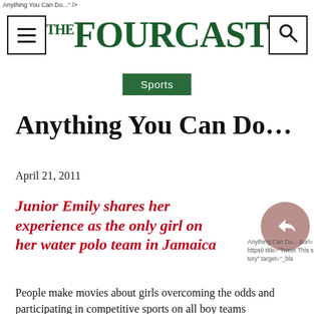Anything You Can Do..." />
[Figure (logo): The Fourcast newspaper logo in dark green serif font with hamburger menu icon on left and search icon on right]
Sports
Anything You Can Do...
April 21, 2011
Junior Emily shares her experience as the only girl on her water polo team in Jamaica
People make movies about girls overcoming the odds and participating in competitive sports on all boy teams...